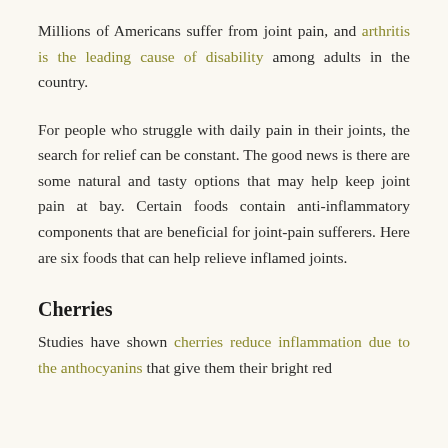Millions of Americans suffer from joint pain, and arthritis is the leading cause of disability among adults in the country.
For people who struggle with daily pain in their joints, the search for relief can be constant. The good news is there are some natural and tasty options that may help keep joint pain at bay. Certain foods contain anti-inflammatory components that are beneficial for joint-pain sufferers. Here are six foods that can help relieve inflamed joints.
Cherries
Studies have shown cherries reduce inflammation due to the anthocyanins that give them their bright red